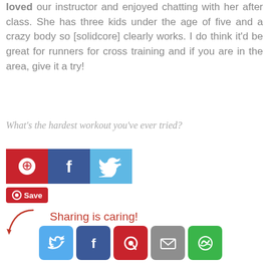loved our instructor and enjoyed chatting with her after class. She has three kids under the age of five and a crazy body so [solidcore] clearly works. I do think it'd be great for runners for cross training and if you are in the area, give it a try!
What's the hardest workout you've ever tried?
[Figure (infographic): Social share buttons: Pinterest (red), Facebook (dark blue), Twitter (light blue), followed by a Pinterest Save button]
[Figure (infographic): Sharing is caring! section with arrow and five social media icon buttons: Twitter, Facebook, Pinterest, Email, More]